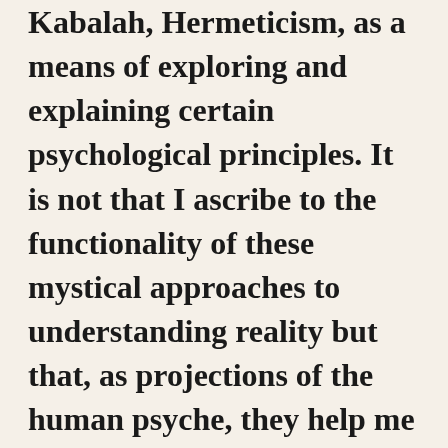Kabalah, Hermeticism, as a means of exploring and explaining certain psychological principles. It is not that I ascribe to the functionality of these mystical approaches to understanding reality but that, as projections of the human psyche, they help me to grasp the vast mystery that lies behind the creative human mind and its relationship with what is perceived as real.